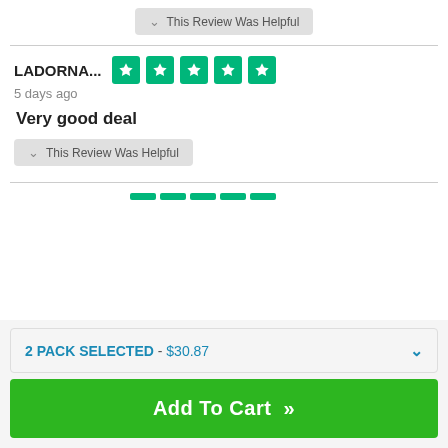[Figure (screenshot): A 'This Review Was Helpful' button at the top (partially visible)]
LADORNA... 5 days ago
[Figure (other): 5-star Trustpilot rating (green stars)]
Very good deal
[Figure (screenshot): 'This Review Was Helpful' button]
[Figure (other): Partial star rating row for next review]
2 PACK SELECTED - $30.87
Add To Cart »